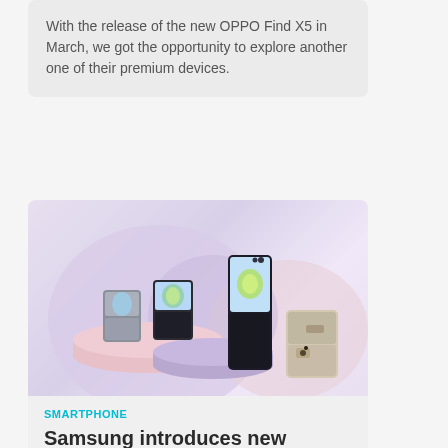With the release of the new OPPO Find X5 in March, we got the opportunity to explore another one of their premium devices.
[Figure (photo): Product photo of Samsung foldable smartphones (Galaxy Z Flip series) displayed on pastel-colored cylindrical pedestals against a light purple/pink background]
SMARTPHONE
Samsung introduces new generation of foldable smartphones